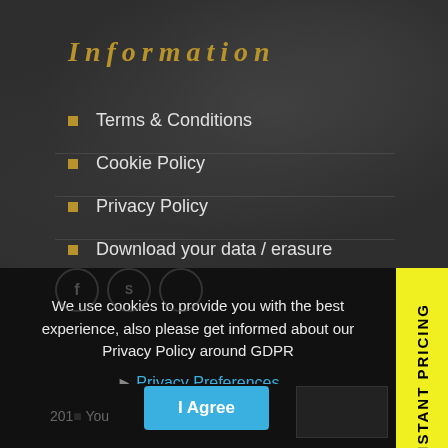Information
Terms & Conditions
Cookie Policy
Privacy Policy
Download your data / erasure
We use cookies to provide you with the best experience, also please get informed about our Privacy Policy around GDPR
Privacy Preferences
I Agree